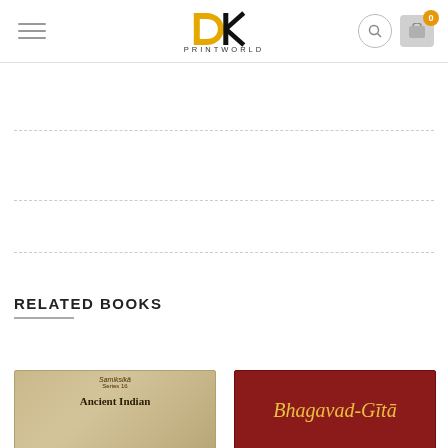DK PRINTWORLD
RELATED BOOKS
[Figure (illustration): Book cover: Samiksika Series 16 - Ancient Indian]
[Figure (illustration): Book cover: Bhagavad-Gita (dark red cover with gold italic text)]